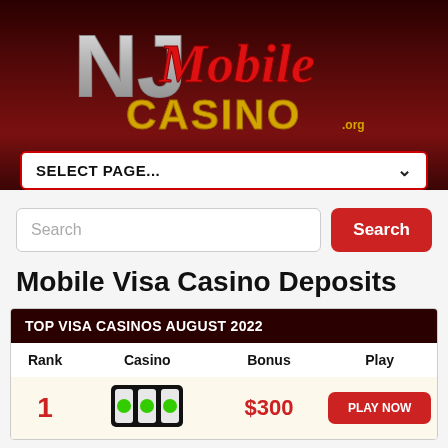[Figure (logo): NJ Mobile Casino .org logo with stylized silver NJ letters and red Mobile script text with gold CASINO text]
SELECT PAGE...
Search
Mobile Visa Casino Deposits
| Rank | Casino | Bonus | Play |
| --- | --- | --- | --- |
| 1 | [casino logo] | $300 | PLAY NOW |